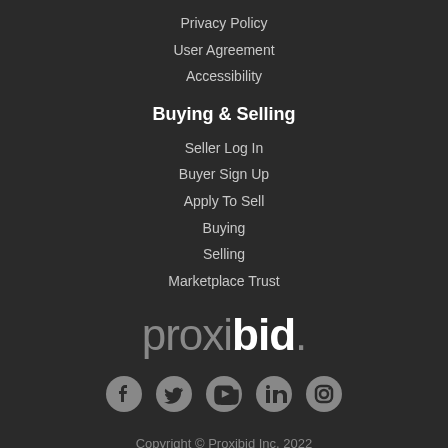Privacy Policy
User Agreement
Accessibility
Buying & Selling
Seller Log In
Buyer Sign Up
Apply To Sell
Buying
Selling
Marketplace Trust
[Figure (logo): Proxibid logo in gray and white text on dark background]
[Figure (infographic): Social media icons: Facebook, Twitter, YouTube, LinkedIn, Instagram]
Copyright © Proxibid Inc. 2022